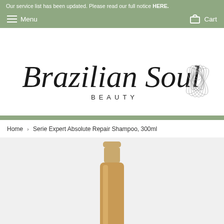Our service list has been updated. Please read our full notice HERE.
Menu   Cart
[Figure (logo): Brazilian Soul Beauty logo with script lettering and lotus flower illustration]
Home › Serie Expert Absolute Repair Shampoo, 300ml
[Figure (photo): Partial view of a shampoo bottle cap in gold/bronze color, product partially visible at bottom of page]